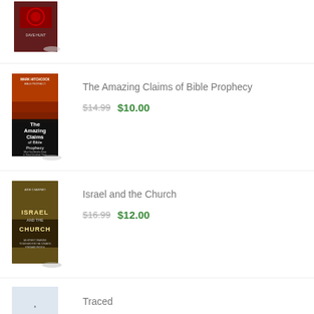[Figure (photo): Book cover partially visible at top - Dave Hunt book with red design]
The Amazing Claims of Bible Prophecy
$14.99  $10.00
[Figure (photo): Book cover: The Amazing Claims of Bible Prophecy by Mark Hitchcock, dark orange/red sky background]
Israel and the Church
$16.99  $12.00
[Figure (photo): Book cover: Israel and the Church by Arie Casrpati, dark golden/yellow tones]
Traced
$24.00
[Figure (photo): Book cover: Traced, light blue/white cover, partially visible]